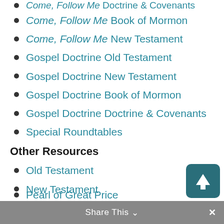Come, Follow Me Book of Mormon
Come, Follow Me New Testament
Gospel Doctrine Old Testament
Gospel Doctrine New Testament
Gospel Doctrine Book of Mormon
Gospel Doctrine Doctrine & Covenants
Special Roundtables
Other Resources
Old Testament
New Testament
Book of Mormon
Doctrine & Covenants
Pearl of Great Price
Share This ∨  ✕